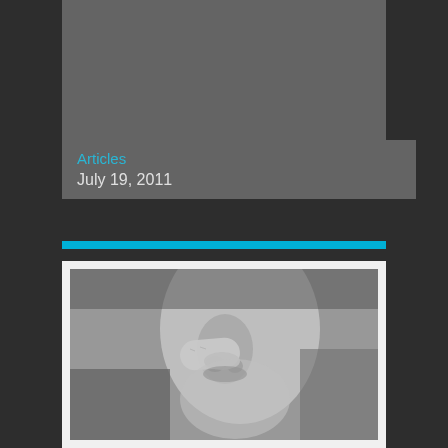[Figure (photo): Gray rectangle placeholder image at top of card]
Articles
July 19, 2011
[Figure (photo): Black and white close-up photo of a person holding their index finger to their lips in a shushing/silence gesture]